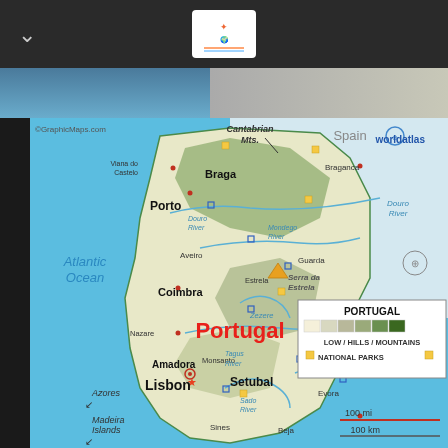[Figure (map): Map of Portugal showing cities, rivers, mountains, Atlantic Ocean, with elevation legend. Cities include Braga, Porto, Coimbra, Lisbon, Setubal, Beja, Guarda, Braganca, Aveiro, Evora, Portalegre, Amadora, Nazare, Monsanto, Sines. Rivers: Douro, Mondego, Tagus, Sado, Zezere, Guadiana. Islands: Azores, Madeira. Border with Spain to the north (Cantabrian Mts.) and east. Scale: 100 mi / 100 km. Source: GraphicMaps.com / worldatlas.]